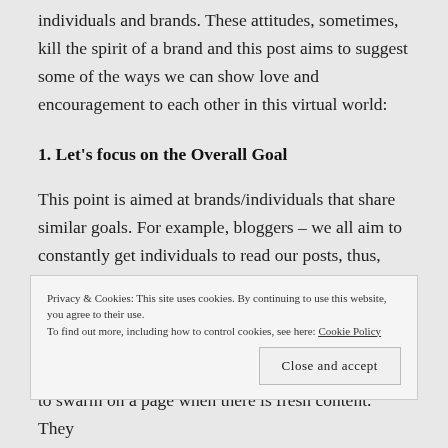individuals and brands. These attitudes, sometimes, kill the spirit of a brand and this post aims to suggest some of the ways we can show love and encouragement to each other in this virtual world:
1. Let's focus on the Overall Goal
This point is aimed at brands/individuals that share similar goals. For example, bloggers – we all aim to constantly get individuals to read our posts, thus, let's not hesitate to support one another by clicking on links
Privacy & Cookies: This site uses cookies. By continuing to use this website, you agree to their use.
To find out more, including how to control cookies, see here: Cookie Policy
Close and accept
to swarm on a page when there is fresh content. They